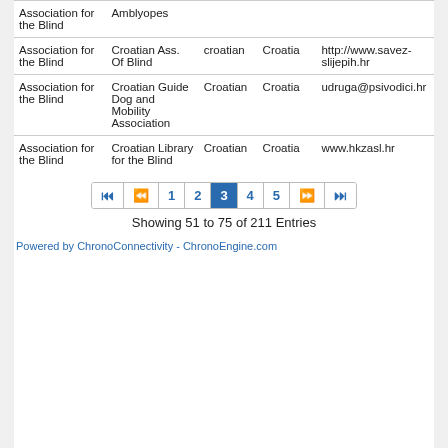| Association for the Blind | Amblyopes |  |  |  |
| Association for the Blind | Croatian Ass. Of Blind | croatian | Croatia | http://www.savez-slijepih.hr |
| Association for the Blind | Croatian Guide Dog and Mobility Association | Croatian | Croatia | udruga@psivodici.hr |
| Association for the Blind | Croatian Library for the Blind | Croatian | Croatia | www.hkzasl.hr |
Showing 51 to 75 of 211 Entries
Powered by ChronoConnectivity - ChronoEngine.com